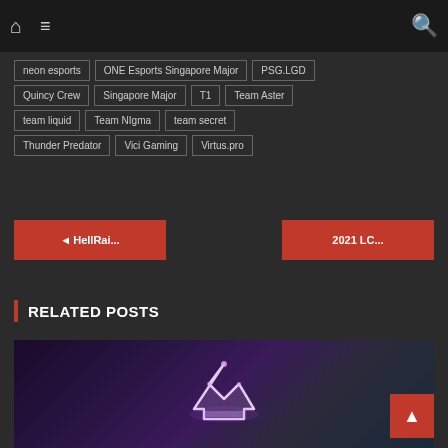Navigation bar with home, menu, and search icons
neon esports
ONE Esports Singapore Major
PSG.LGD
Quincy Crew
Singapore Major
T1
Team Aster
team liquid
Team NIgma
team secret
Thunder Predator
Vici Gaming
Virtus.pro
◄ HellRai...
2021 LC...
RELATED POSTS
[Figure (photo): Related post thumbnail showing a dark gaming/esports stage scene with a glowing crown emblem in the center]